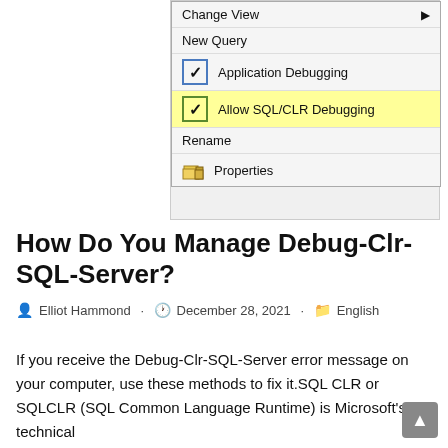[Figure (screenshot): A context menu screenshot showing items: Change View (with arrow), New Query, Application Debugging (with blue checkbox checked), Allow SQL/CLR Debugging (highlighted yellow, with green checkbox checked), Rename, Properties (with folder icon)]
How Do You Manage Debug-Clr-SQL-Server?
Elliot Hammond · December 28, 2021 · English
If you receive the Debug-Clr-SQL-Server error message on your computer, use these methods to fix it.SQL CLR or SQLCLR (SQL Common Language Runtime) is Microsoft's technical